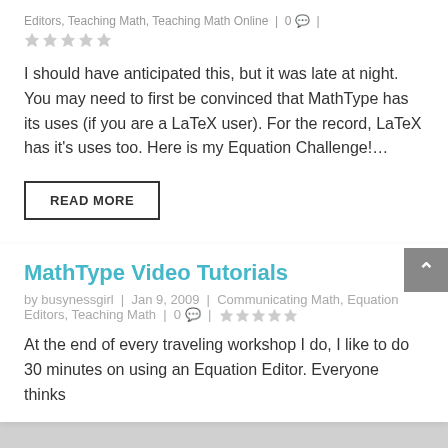Editors, Teaching Math, Teaching Math Online | 0 |
I should have anticipated this, but it was late at night. You may need to first be convinced that MathType has its uses (if you are a LaTeX user). For the record, LaTeX has it's uses too. Here is my Equation Challenge!...
READ MORE
MathType Video Tutorials
by busynessgirl | Jan 9, 2009 | Communicating Math, Equation Editors, Teaching Math | 0 |
At the end of every traveling workshop I do, I like to do 30 minutes on using an Equation Editor. Everyone thinks